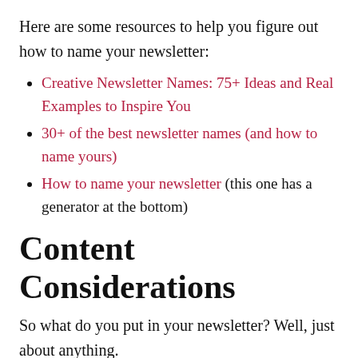Here are some resources to help you figure out how to name your newsletter:
Creative Newsletter Names: 75+ Ideas and Real Examples to Inspire You
30+ of the best newsletter names (and how to name yours)
How to name your newsletter (this one has a generator at the bottom)
Content Considerations
So what do you put in your newsletter? Well, just about anything.